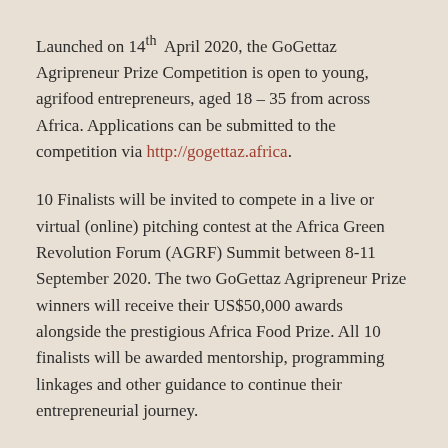Launched on 14th April 2020, the GoGettaz Agripreneur Prize Competition is open to young, agrifood entrepreneurs, aged 18 – 35 from across Africa. Applications can be submitted to the competition via http://gogettaz.africa.
10 Finalists will be invited to compete in a live or virtual (online) pitching contest at the Africa Green Revolution Forum (AGRF) Summit between 8-11 September 2020. The two GoGettaz Agripreneur Prize winners will receive their US$50,000 awards alongside the prestigious Africa Food Prize. All 10 finalists will be awarded mentorship, programming linkages and other guidance to continue their entrepreneurial journey.
NEXT >> Kenya's Biggest Sports B*****g Company Makes a Comeback